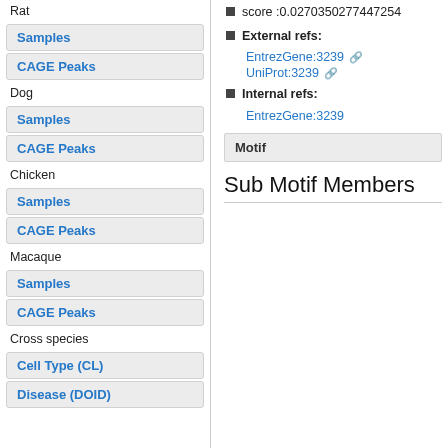Rat
Samples
CAGE Peaks
Dog
Samples
CAGE Peaks
Chicken
Samples
CAGE Peaks
Macaque
Samples
CAGE Peaks
Cross species
Cell Type (CL)
Disease (DOID)
score :0.0270350277447254
External refs:
EntrezGene:3239
UniProt:3239
Internal refs:
EntrezGene:3239
Motif
Sub Motif Members